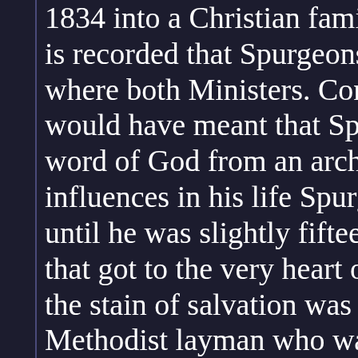1834 into a Christian family lifespan in E... is recorded that Spurgeons Father and ind... where both Ministers. Coming from a Chr... would have meant that Spurgeon was intr... word of God from an archaean age. Despi... influences in his life Spurgeon did not cou... until he was slightly fifteen years of age. T... that got to the very heart of Spurgeon con... the stain of salvation was delivered by un... Methodist layman who was treatment on ... 45:22 Look unto me, and be ye saved, all ... earth: for I am God, and there is no(preno... This simple message was all Spurgeon ne...